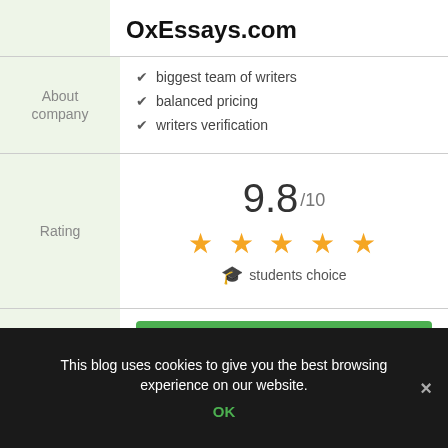OxEssays.com
biggest team of writers
balanced pricing
writers verification
9.8 /10 ★★★★★ students choice
visit site
read review
This blog uses cookies to give you the best browsing experience on our website. OK